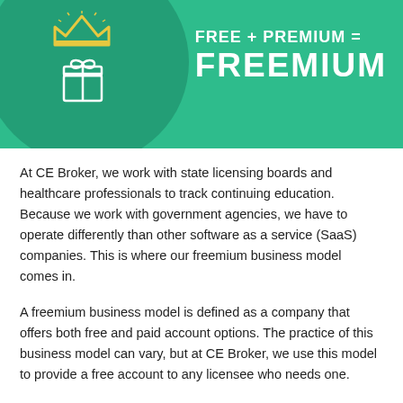[Figure (infographic): Green banner with a crown and gift box icon on the left inside a dark green circle, and text on the right reading FREE + PREMIUM = FREEMIUM in white bold letters.]
At CE Broker, we work with state licensing boards and healthcare professionals to track continuing education. Because we work with government agencies, we have to operate differently than other software as a service (SaaS) companies. This is where our freemium business model comes in.
A freemium business model is defined as a company that offers both free and paid account options. The practice of this business model can vary, but at CE Broker, we use this model to provide a free account to any licensee who needs one.